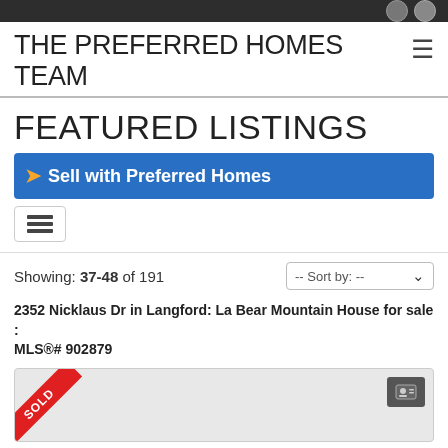THE PREFERRED HOMES TEAM
FEATURED LISTINGS
[Figure (other): Blue banner with orange arrow icon and text 'Sell with Preferred Homes']
[Figure (other): List view icon button]
Showing: 37-48 of 191
-- Sort by: --
2352 Nicklaus Dr in Langford: La Bear Mountain House for sale : MLS®# 902879
[Figure (photo): Property listing image with red SOLD ribbon in the corner and a contact icon button]